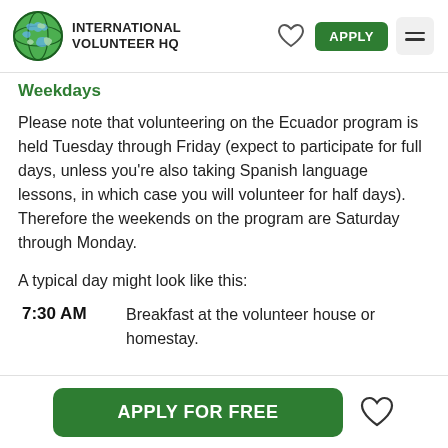INTERNATIONAL VOLUNTEER HQ
Weekdays
Please note that volunteering on the Ecuador program is held Tuesday through Friday (expect to participate for full days, unless you're also taking Spanish language lessons, in which case you will volunteer for half days). Therefore the weekends on the program are Saturday through Monday.
A typical day might look like this:
7:30 AM — Breakfast at the volunteer house or homestay.
APPLY FOR FREE